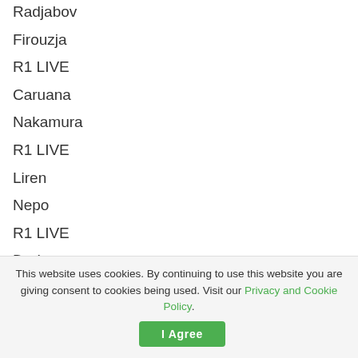Radjabov
Firouzja
R1 LIVE
Caruana
Nakamura
R1 LIVE
Liren
Nepo
R1 LIVE
Duda
Rapport
R1 LIVE
Radjabov
Firouzja
This website uses cookies. By continuing to use this website you are giving consent to cookies being used. Visit our Privacy and Cookie Policy.